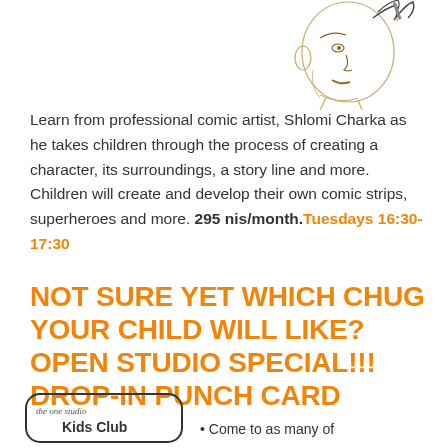[Figure (illustration): Pencil sketch illustration of a person's face/head from the side, appearing to be a comic character, positioned top right]
Learn from professional comic artist, Shlomi Charka as he takes children through the process of creating a character, its surroundings, a story line and more. Children will create and develop their own comic strips, superheroes and more. 295 nis/month. Tuesdays 16:30-17:30
NOT SURE YET WHICH CHUG YOUR CHILD WILL LIKE? OPEN STUDIO SPECIAL!!! DROP-IN PUNCH CARD
[Figure (logo): Kids Club logo badge with rounded rectangle border and cursive text]
Come to as many of